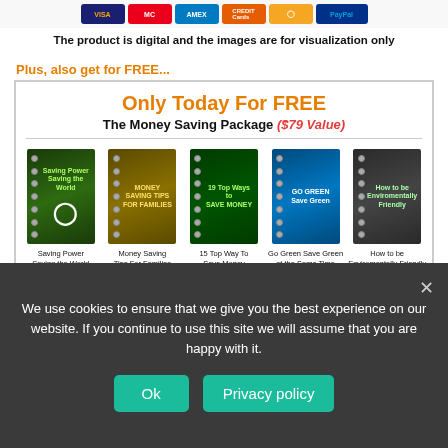[Figure (illustration): Row of payment method icons: Visa, Mastercard, American Express, Discover, Bitcoin/crypto, and PayPal]
The product is digital and the images are for visualization only
Plus, also get for FREE...
[Figure (infographic): Free money saving package box containing: 'Only Today For FREE' heading, 'The Money Saving Package ($79 Value)' subtitle, and five book covers with their names and values: 'Saving Power Saving the World ($16 Value)', 'Money Saving Tips For Families ($14 Value)', '15 Top Way To Save Money ($19 Value)', 'Go Green Save Green at the Same Time ($16 Value)', 'How to be Enviromentally Friendly ($14 Value)']
Still here?